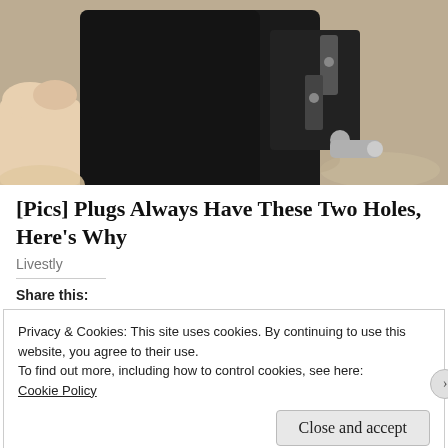[Figure (photo): Close-up photo of a black electrical plug held by a hand, showing two prongs on the right side with holes in them, against a granite/stone counter background.]
[Pics] Plugs Always Have These Two Holes, Here's Why
Livestly
Share this:
Privacy & Cookies: This site uses cookies. By continuing to use this website, you agree to their use.
To find out more, including how to control cookies, see here: Cookie Policy
Close and accept